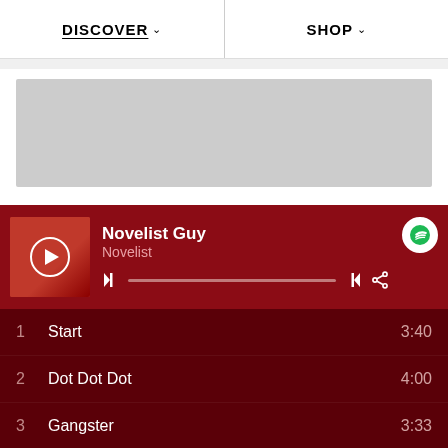DISCOVER  SHOP
[Figure (photo): Gray placeholder banner image]
Novelist Guy
Novelist
1  Start  3:40
2  Dot Dot Dot  4:00
3  Gangster  3:33
4  Clocking the game (Enter a new atmosphere)  1:47
5  Afro pick  4:03